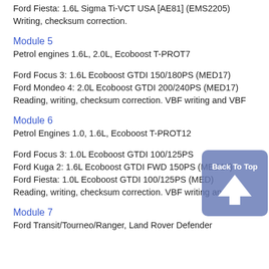Ford Fiesta: 1.6L Sigma Ti-VCT USA [AE81] (EMS2205)
Writing, checksum correction.
Module 5
Petrol engines 1.6L, 2.0L, Ecoboost T-PROT7
Ford Focus 3: 1.6L Ecoboost GTDI 150/180PS (MED17)
Ford Mondeo 4: 2.0L Ecoboost GTDI 200/240PS (MED17)
Reading, writing, checksum correction. VBF writing and VBF...
Module 6
Petrol Engines 1.0, 1.6L, Ecoboost T-PROT12
Ford Focus 3: 1.0L Ecoboost GTDI 100/125PS ...
Ford Kuga 2: 1.6L Ecoboost GTDI FWD 150PS (MED17)
Ford Fiesta: 1.0L Ecoboost GTDI 100/125PS (MED...)
Reading, writing, checksum correction. VBF writing and VBF...
Module 7
Ford Transit/Tourneo/Ranger, Land Rover Defender